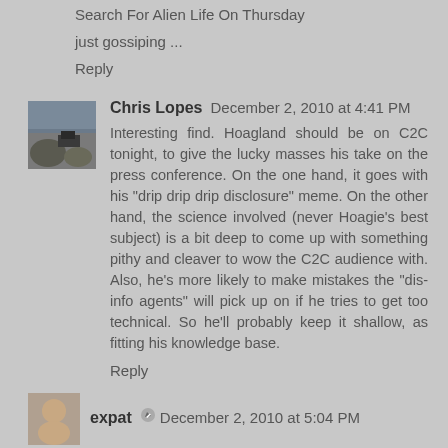Search For Alien Life On Thursday
just gossiping ...
Reply
Chris Lopes  December 2, 2010 at 4:41 PM
Interesting find. Hoagland should be on C2C tonight, to give the lucky masses his take on the press conference. On the one hand, it goes with his "drip drip drip disclosure" meme. On the other hand, the science involved (never Hoagie's best subject) is a bit deep to come up with something pithy and cleaver to wow the C2C audience with. Also, he's more likely to make mistakes the "dis-info agents" will pick up on if he tries to get too technical. So he'll probably keep it shallow, as fitting his knowledge base.
Reply
expat  December 2, 2010 at 5:04 PM